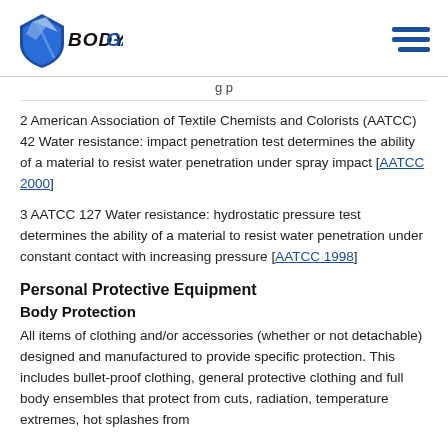BODYGARD
2 American Association of Textile Chemists and Colorists (AATCC) 42 Water resistance: impact penetration test determines the ability of a material to resist water penetration under spray impact [AATCC 2000]
3 AATCC 127 Water resistance: hydrostatic pressure test determines the ability of a material to resist water penetration under constant contact with increasing pressure [AATCC 1998]
Personal Protective Equipment
Body Protection
All items of clothing and/or accessories (whether or not detachable) designed and manufactured to provide specific protection. This includes bullet-proof clothing, general protective clothing and full body ensembles that protect from cuts, radiation, temperature extremes, hot splashes from